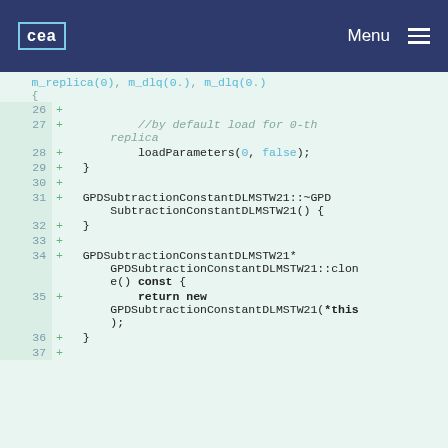CEA | Menu
[Figure (screenshot): Code diff view showing lines 26-37 of a C++ source file with added lines (+) implementing GPDSubtractionConstantDLMSTW21 class methods including constructor, destructor, and clone function.]